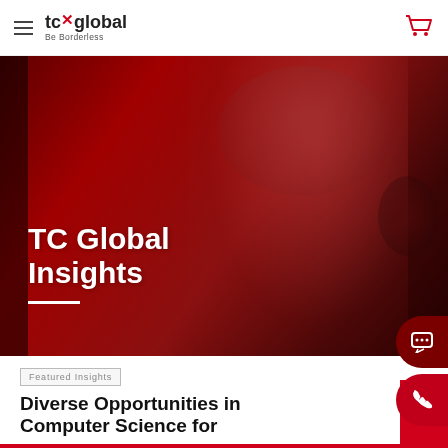tc global — Be Borderless
[Figure (photo): Hero banner with woman wearing red knit beanie and headphones, photo tinted deep red, with 'TC Global Insights' heading overlaid in white bold text and white underline]
TC Global Insights
Featured Insights
Diverse Opportunities in Computer Science for
SUBSCRIBE